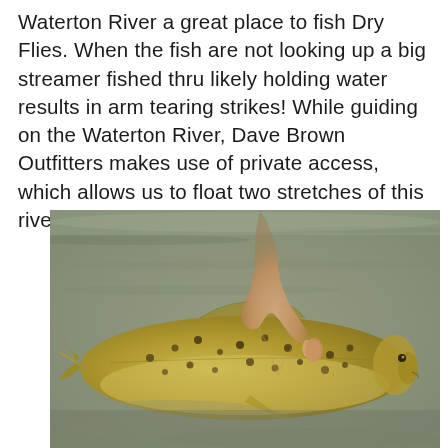Waterton River a great place to fish Dry Flies. When the fish are not looking up a big streamer fished thru likely holding water results in arm tearing strikes! While guiding on the Waterton River, Dave Brown Outfitters makes use of private access, which allows us to float two stretches of this river.
[Figure (photo): A hand holding a large brown trout partially submerged in shallow, murky water. The fish has golden-brown coloring with dark spots characteristic of a brown trout.]